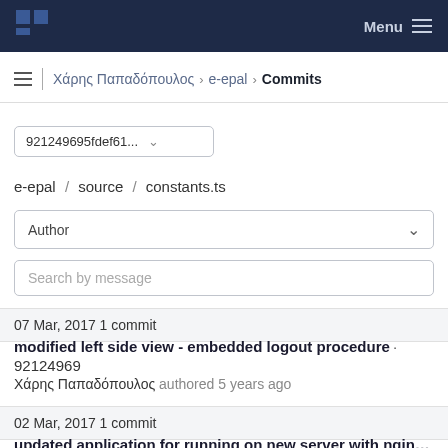Menu
Χάρης Παπαδόπουλος › e-epal › Commits
921249695fdef61...
e-epal / source / constants.ts
Author
Search by message
07 Mar, 2017 1 commit
modified left side view - embedded logout procedure · 92124969
Χάρης Παπαδόπουλος authored 5 years ago
02 Mar, 2017 1 commit
updated application for running on new server with nginx based